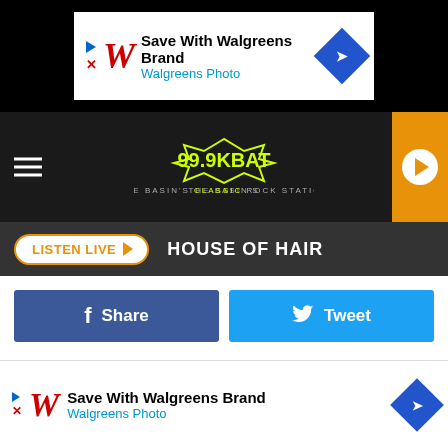[Figure (screenshot): Walgreens Brand advertisement banner with Walgreens logo, 'Save With Walgreens Brand' text, 'Walgreens Photo' subtext, and blue diamond navigation icon]
[Figure (logo): 99.9 KBAT radio station logo with bat silhouette and tagline 'THE BASIN'S CLASSIC ROCK STATION' on dark background with orange play button]
LISTEN LIVE ▶  HOUSE OF HAIR
[Figure (infographic): Facebook Share button (dark blue) and Twitter Tweet button (light blue) side by side]
she'd always thought, "Boy, I'd really love to sing that song someday."
The encore began with Nicks taking the lead on a tribute to her dear friend Tom Petty via a cover of "Free Fallin'," moved onto "Don't Stop" and concluded with a poignant Nicks and Christine McVie duet on 1995's "All Over Again": "Well it's it's time to                                              / In spite o                                              all
[Figure (screenshot): Walgreens Brand advertisement banner overlaying bottom of page with Walgreens logo, 'Save With Walgreens Brand', 'Walgreens Photo', and blue diamond navigation icon]